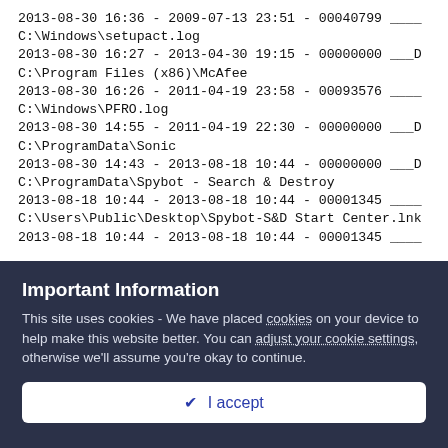2013-08-30 16:36 - 2009-07-13 23:51 - 00040799 ____ C:\Windows\setupact.log
2013-08-30 16:27 - 2013-04-30 19:15 - 00000000 ___D C:\Program Files (x86)\McAfee
2013-08-30 16:26 - 2011-04-19 23:58 - 00093576 ____ C:\Windows\PFRO.log
2013-08-30 14:55 - 2011-04-19 22:30 - 00000000 ___D C:\ProgramData\Sonic
2013-08-30 14:43 - 2013-08-18 10:44 - 00000000 ___D C:\ProgramData\Spybot - Search & Destroy
2013-08-18 10:44 - 2013-08-18 10:44 - 00001345 ____ C:\Users\Public\Desktop\Spybot-S&D Start Center.lnk
2013-08-18 10:44 - 2013-08-18 10:44 - 00001345 ____
Important Information
This site uses cookies - We have placed cookies on your device to help make this website better. You can adjust your cookie settings, otherwise we'll assume you're okay to continue.
✔  I accept